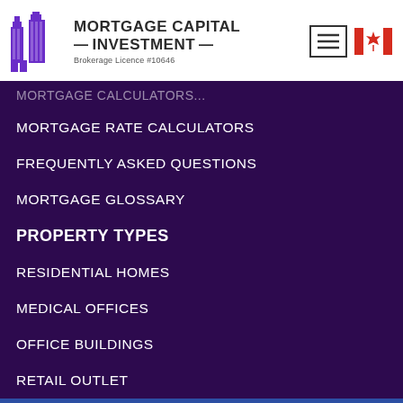[Figure (logo): Mortgage Capital Investment logo with purple building/skyscraper icon and company name text, Brokerage Licence #10646. Canadian flag icon and hamburger menu button in top right.]
MORTGAGE RATE CALCULATORS
FREQUENTLY ASKED QUESTIONS
MORTGAGE GLOSSARY
PROPERTY TYPES
RESIDENTIAL HOMES
MEDICAL OFFICES
OFFICE BUILDINGS
RETAIL OUTLET
Apply for Online Mortgage
Tel: 289-800-4840